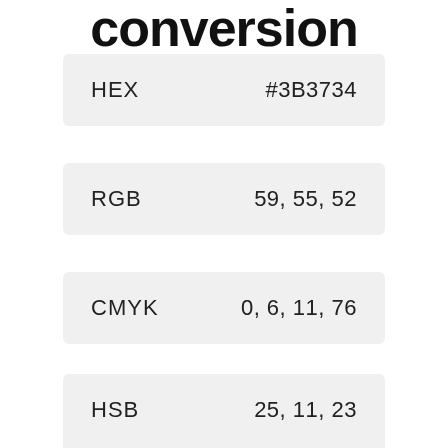conversion
| Format | Value |
| --- | --- |
| HEX | #3B3734 |
| RGB | 59, 55, 52 |
| CMYK | 0, 6, 11, 76 |
| HSB | 25, 11, 23 |